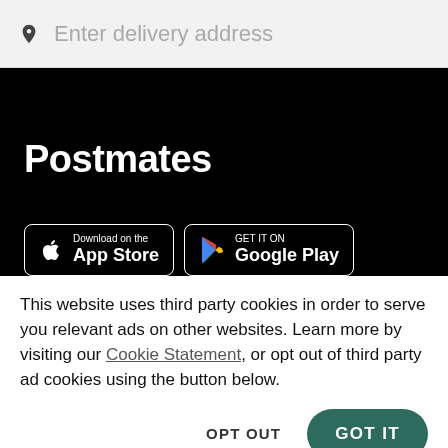[Figure (screenshot): Search bar with location pin icon and placeholder text 'Enter delivery address' on a light gray background]
Postmates
[Figure (screenshot): App store download buttons: 'Download on the App Store' and 'GET IT ON Google Play' on black background]
This website uses third party cookies in order to serve you relevant ads on other websites. Learn more by visiting our Cookie Statement, or opt out of third party ad cookies using the button below.
OPT OUT   GOT IT